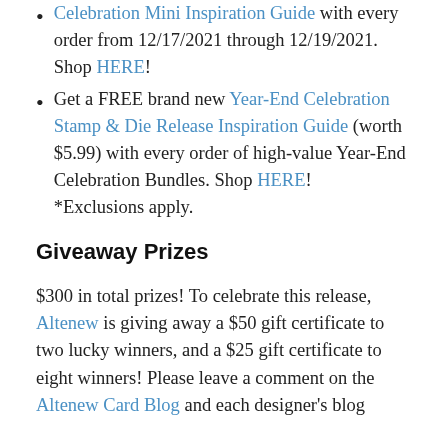Celebration Mini Inspiration Guide with every order from 12/17/2021 through 12/19/2021. Shop HERE!
Get a FREE brand new Year-End Celebration Stamp & Die Release Inspiration Guide (worth $5.99) with every order of high-value Year-End Celebration Bundles. Shop HERE! *Exclusions apply.
Giveaway Prizes
$300 in total prizes! To celebrate this release, Altenew is giving away a $50 gift certificate to two lucky winners, and a $25 gift certificate to eight winners! Please leave a comment on the Altenew Card Blog and each designer's blog